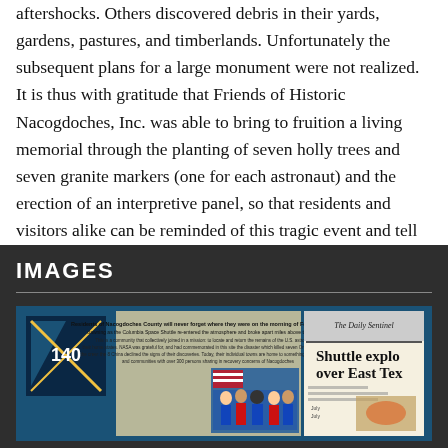aftershocks. Others discovered debris in their yards, gardens, pastures, and timberlands. Unfortunately the subsequent plans for a large monument were not realized. It is thus with gratitude that Friends of Historic Nacogdoches, Inc. was able to bring to fruition a living memorial through the planting of seven holly trees and seven granite markers (one for each astronaut) and the erection of an interpretive panel, so that residents and visitors alike can be reminded of this tragic event and tell their own stories of recovery.[1]
IMAGES
[Figure (photo): Photograph of an interpretive panel commemorating the Space Shuttle Columbia disaster, showing images of the crew, a newspaper headline reading 'Shuttle explodes over East Texas', and text about Nacogdoches recovery efforts.]